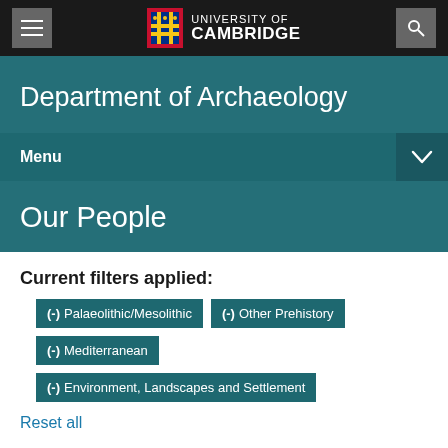University of Cambridge
Department of Archaeology
Menu
Our People
Current filters applied:
(-) Palaeolithic/Mesolithic
(-) Other Prehistory
(-) Mediterranean
(-) Environment, Landscapes and Settlement
Reset all